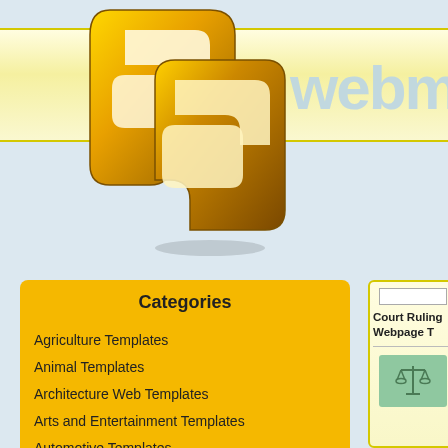[Figure (logo): Webmaster software/service logo — two interlocking gold 3D squares with 'webma...' text in light blue]
Categories
Agriculture Templates
Animal Templates
Architecture Web Templates
Arts and Entertainment Templates
Automotive Templates
Beauty and Fashion Templates
Book Templates
Business Templates
Casino and Gambling Templates
Catalog Templates
Court Ruling Webpage T...
[Figure (illustration): Small green thumbnail image showing scales of justice icon]